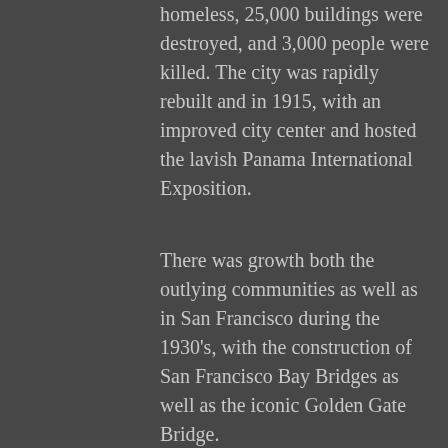homeless, 25,000 buildings were destroyed, and 3,000 people were killed. The city was rapidly rebuilt and in 1915, with an improved city center and hosted the lavish Panama International Exposition.
There was growth both the outlying communities as well as in San Francisco during the 1930's, with the construction of San Francisco Bay Bridges as well as the iconic Golden Gate Bridge.
In the Pacific theater during WW II, San Francisco was the primary point of